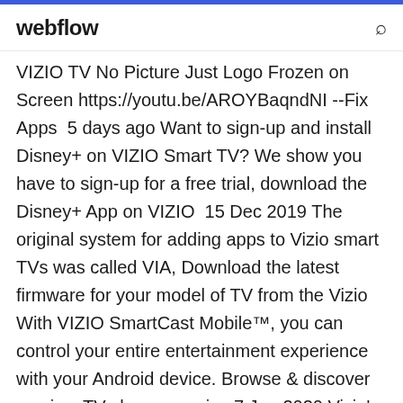webflow
VIZIO TV No Picture Just Logo Frozen on Screen https://youtu.be/AROYBaqndNI --Fix Apps  5 days ago Want to sign-up and install Disney+ on VIZIO Smart TV? We show you have to sign-up for a free trial, download the Disney+ App on VIZIO  15 Dec 2019 The original system for adding apps to Vizio smart TVs was called VIA, Download the latest firmware for your model of TV from the Vizio  With VIZIO SmartCast Mobile™, you can control your entire entertainment experience with your Android device. Browse & discover movies, TV shows, music,  7 Jan 2020 Vizio's SmartCast 4.0 proves there's room for yet another smart TV With the notable exception of Netflix, every SmartCast